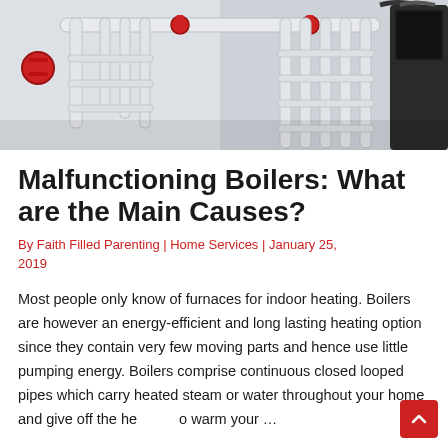[Figure (photo): Boiler room with white pipes, red valves, and heating equipment mounted on a light gray wall]
Malfunctioning Boilers: What are the Main Causes?
By Faith Filled Parenting | Home Services | January 25, 2019
Most people only know of furnaces for indoor heating. Boilers are however an energy-efficient and long lasting heating option since they contain very few moving parts and hence use little pumping energy. Boilers comprise continuous closed looped pipes which carry heated steam or water throughout your home and give off the he to warm your ...